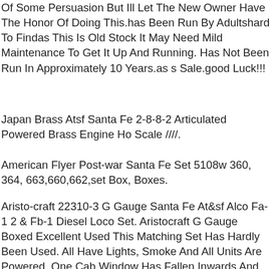Of Some Persuasion But Ill Let The New Owner Have The Honor Of Doing This.has Been Run By Adultshard To Findas This Is Old Stock It May Need Mild Maintenance To Get It Up And Running. Has Not Been Run In Approximately 10 Years.as s Sale.good Luck!!!
Japan Brass Atsf Santa Fe 2-8-8-2 Articulated Powered Brass Engine Ho Scale ////.
American Flyer Post-war Santa Fe Set 5108w 360, 364, 663,660,662,set Box, Boxes.
Aristo-craft 22310-3 G Gauge Santa Fe At&sf Alco Fa-1 2 & Fb-1 Diesel Loco Set. Aristocraft G Gauge Boxed Excellent Used This Matching Set Has Hardly Been Used. All Have Lights, Smoke And All Units Are Powered. One Cab Window Has Fallen Inwards And Is Easily Reinstated. All Come In Correct Boxes With Instructions And Parts. See Pictures For Details. If You Buy Multiple Items Please Wait For A Combined Invoice. Thanks For Looking.